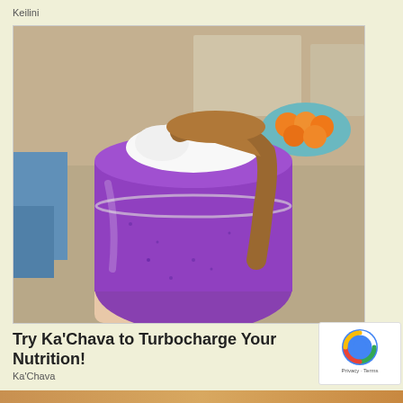Keilini
[Figure (photo): A mason jar filled with a purple blueberry smoothie topped with white cream and brown nut butter drizzle, held by a hand. Kitchen background with oranges visible.]
Try Ka'Chava to Turbocharge Your Nutrition!
Ka'Chava
Lea…
[Figure (logo): reCAPTCHA logo with Privacy - Terms text]